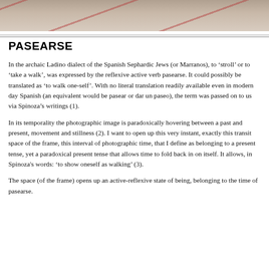[Figure (photo): Partial view of a floor or surface with red diagonal lines, likely a gymnasium or sports hall floor, cropped at the top of the page.]
PASEARSE
In the archaic Ladino dialect of the Spanish Sephardic Jews (or Marranos), to ‘stroll’ or to ‘take a walk’, was expressed by the reflexive active verb pasearse. It could possibly be translated as ‘to walk one-self’. With no literal translation readily available even in modern day Spanish (an equivalent would be pasear or dar un paseo), the term was passed on to us via Spinoza’s writings (1).
In its temporality the photographic image is paradoxically hovering between a past and present, movement and stillness (2). I want to open up this very instant, exactly this transit space of the frame, this interval of photographic time, that I define as belonging to a present tense, yet a paradoxical present tense that allows time to fold back in on itself. It allows, in Spinoza's words: ‘to show oneself as walking’ (3).
The space (of the frame) opens up an active-reflexive state of being, belonging to the time of pasearse.